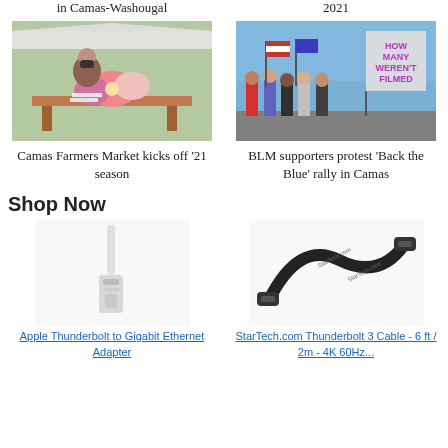in Camas-Washougal
2021
[Figure (photo): Person wearing mask arranging flowers at outdoor market stall]
[Figure (photo): Crowd of protesters with American flags and signs reading 'HOW MANY WEREN'T FILMED' at a Back the Blue rally]
Camas Farmers Market kicks off '21 season
BLM supporters protest 'Back the Blue' rally in Camas
Shop Now
[Figure (photo): Apple Thunderbolt to Gigabit Ethernet Adapter product photo on white background]
[Figure (photo): StarTech.com Thunderbolt 3 Cable product photo on white background]
Apple Thunderbolt to Gigabit Ethernet Adapter
StarTech.com Thunderbolt 3 Cable - 6 ft / 2m - 4K 60Hz...